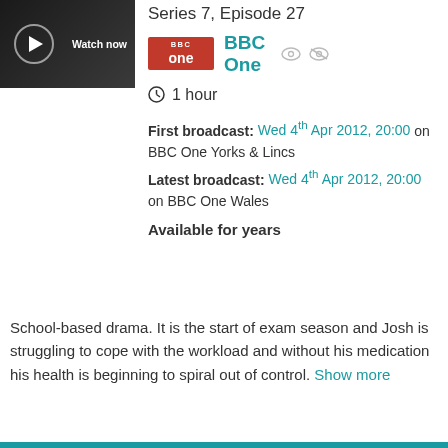[Figure (screenshot): Thumbnail image with play button and 'Watch now' label on dark background]
Series 7, Episode 27
[Figure (logo): BBC One logo - red rectangle with 'BBC one' text in white]
BBC One
1 hour
First broadcast: Wed 4th Apr 2012, 20:00 on BBC One Yorks & Lincs
Latest broadcast: Wed 4th Apr 2012, 20:00 on BBC One Wales
Available for years
School-based drama. It is the start of exam season and Josh is struggling to cope with the workload and without his medication his health is beginning to spiral out of control. Show more